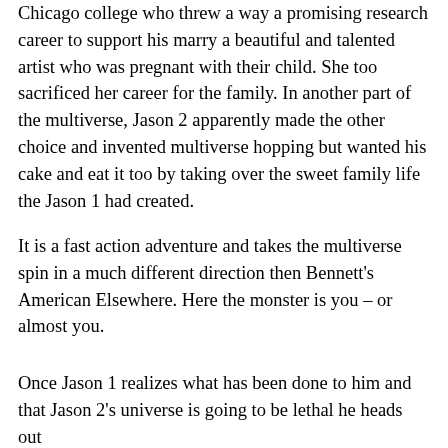Chicago college who threw a way a promising research career to support his marry a beautiful and talented artist who was pregnant with their child. She too sacrificed her career for the family. In another part of the multiverse, Jason 2 apparently made the other choice and invented multiverse hopping but wanted his cake and eat it too by taking over the sweet family life the Jason 1 had created.
It is a fast action adventure and takes the multiverse spin in a much different direction then Bennett's American Elsewhere. Here the monster is you – or almost you.
Once Jason 1 realizes what has been done to him and that Jason 2's universe is going to be lethal he heads out